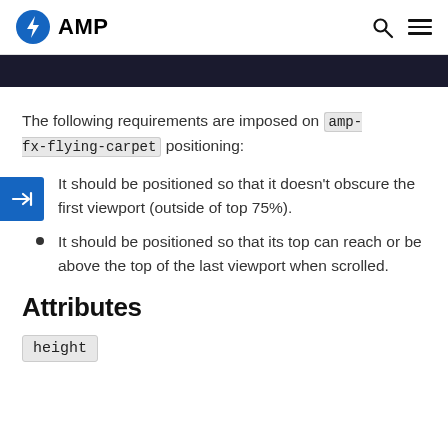AMP
The following requirements are imposed on amp-fx-flying-carpet positioning:
It should be positioned so that it doesn't obscure the first viewport (outside of top 75%).
It should be positioned so that its top can reach or be above the top of the last viewport when scrolled.
Attributes
height